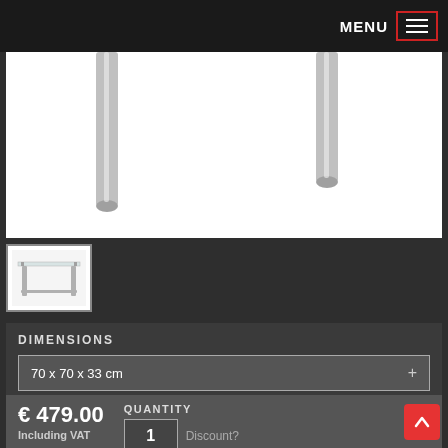MENU
[Figure (photo): Product photo showing chrome table legs from above on white background]
[Figure (photo): Thumbnail image of glass-top table with chrome legs, full view]
DIMENSIONS
70 x 70 x 33 cm
€ 479.00
Including VAT
QUANTITY
1
Discount?